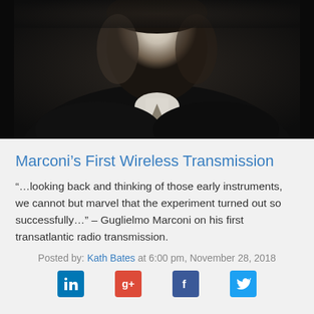[Figure (photo): Black and white portrait photograph of Guglielmo Marconi, showing him from the chest up, wearing a dark suit and tie with a white collar]
Marconi's First Wireless Transmission
“…looking back and thinking of those early instruments, we cannot but marvel that the experiment turned out so successfully…” – Guglielmo Marconi on his first transatlantic radio transmission.
Posted by: Kath Bates at 6:00 pm, November 28, 2018